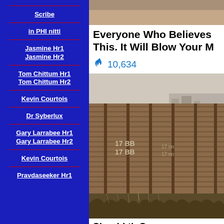Scribe
in PHI nitti
Jasmine Hr1
Jasmine Hr2
Tom Chittum Hr1
Tom Chittum Hr2
Kevin Courtois
Dr Syberlux
Gary Larrabee Hr1
Gary Larrabee Hr2
Kevin Courtois
Pravdaseeker Hr1
[Figure (photo): Top portion of a news article image, brownish/desert tones]
Everyone Who Believes This. It Will Blow Your M
🔥 10,634
[Figure (photo): Photo of a tall metal border wall/fence with graffiti numbers, scrubby vegetation in foreground, city visible in background]
Shar ld th S